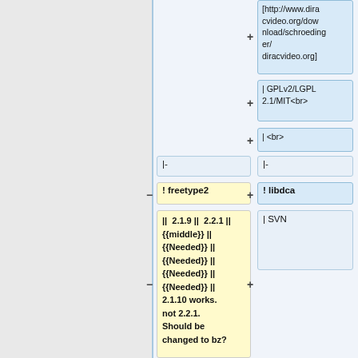[http://www.diracvideo.org/download/schroedinger/diracvideo.org]
| GPLv2/LGPL 2.1/MIT<br>
| <br>
|-
|-
! freetype2
! libdca
|| 2.1.9 || 2.2.1 || {{middle}} || {{Needed}} || {{Needed}} || {{Needed}} || {{Needed}} || 2.1.10 works. not 2.2.1. Should be changed to bz?
| SVN